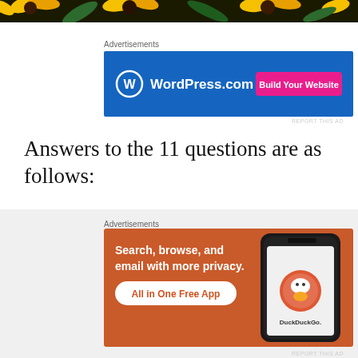[Figure (photo): Sunflowers banner image at the top of the page, cropped showing yellow sunflower petals and green leaves against a dark background.]
Advertisements
[Figure (screenshot): WordPress.com advertisement banner with blue background. WordPress logo on left, 'WordPress.com' text, and a pink 'Build Your Website' button on the right.]
REPORT THIS AD
Answers to the 11 questions are as follows:
1. What is your favorite thing to do at the beach?
Advertisements
[Figure (screenshot): DuckDuckGo advertisement with orange/red background. Text reads 'Search, browse, and email with more privacy. All in One Free App' with a phone mockup showing the DuckDuckGo app and logo.]
REPORT THIS AD